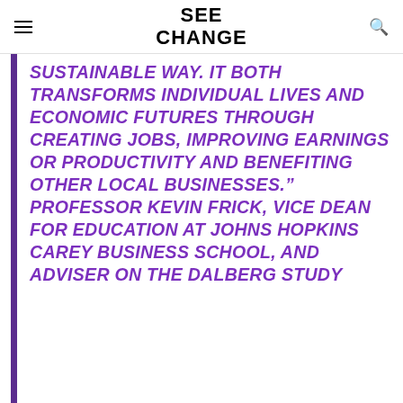SEE CHANGE
SUSTAINABLE WAY. IT BOTH TRANSFORMS INDIVIDUAL LIVES AND ECONOMIC FUTURES THROUGH CREATING JOBS, IMPROVING EARNINGS OR PRODUCTIVITY AND BENEFITING OTHER LOCAL BUSINESSES.” PROFESSOR KEVIN FRICK, VICE DEAN FOR EDUCATION AT JOHNS HOPKINS CAREY BUSINESS SCHOOL, AND ADVISER ON THE DALBERG STUDY